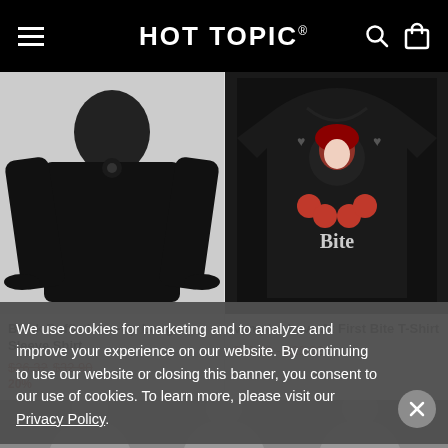HOT TOPIC
[Figure (photo): Black ruffle lace-up long-sleeve shirt on a model against light gray background]
Black Ruffle Lace-Up Long-Sleeve Shirt
$26.32 $32.90
[Figure (photo): Vampire Love At First Bite black graphic t-shirt with gothic vampire woman and roses design]
Vampire Love At First Bite T-Shirt
$19.12 - $22.02
We use cookies for marketing and to analyze and improve your experience on our website. By continuing to use our website or closing this banner, you consent to our use of cookies. To learn more, please visit our Privacy Policy.